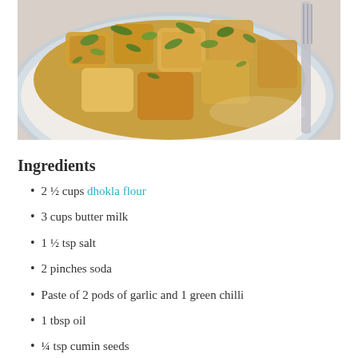[Figure (photo): A plate of dhokla dish - golden fried pieces garnished with green cilantro/coriander leaves, served on a white plate with blue floral pattern. A fork is visible on the right side.]
Ingredients
2 ½ cups dhokla flour
3 cups butter milk
1 ½ tsp salt
2 pinches soda
Paste of 2 pods of garlic and 1 green chilli
1 tbsp oil
¼ tsp cumin seeds